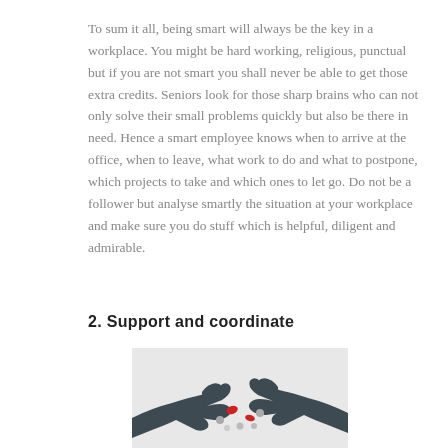To sum it all, being smart will always be the key in a workplace. You might be hard working, religious, punctual but if you are not smart you shall never be able to get those extra credits. Seniors look for those sharp brains who can not only solve their small problems quickly but also be there in need. Hence a smart employee knows when to arrive at the office, when to leave, what work to do and what to postpone, which projects to take and which ones to let go. Do not be a follower but analyse smartly the situation at your workplace and make sure you do stuff which is helpful, diligent and admirable.
2. Support and coordinate
[Figure (illustration): Illustration of dark silhouette hands collaborating and coordinating, passing or working with small red and gray objects on a light surface, symbolizing teamwork and support.]